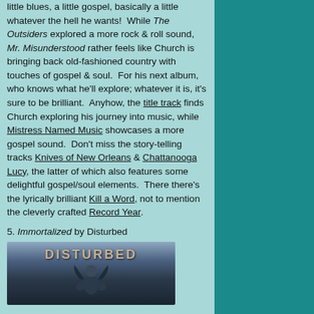little blues, a little gospel, basically a little whatever the hell he wants!  While The Outsiders explored a more rock & roll sound, Mr. Misunderstood rather feels like Church is bringing back old-fashioned country with touches of gospel & soul.  For his next album, who knows what he'll explore; whatever it is, it's sure to be brilliant.  Anyhow, the title track finds Church exploring his journey into music, while Mistress Named Music showcases a more gospel sound.  Don't miss the story-telling tracks Knives of New Orleans & Chattanooga Lucy, the latter of which also features some delightful gospel/soul elements.  There there's the lyrically brilliant Kill a Word, not to mention the cleverly crafted Record Year.
5. Immortalized by Disturbed
[Figure (photo): Album cover for Disturbed - Immortalized showing the band name DISTURBED in metallic letters over a dark fantasy/apocalyptic background with a figure]